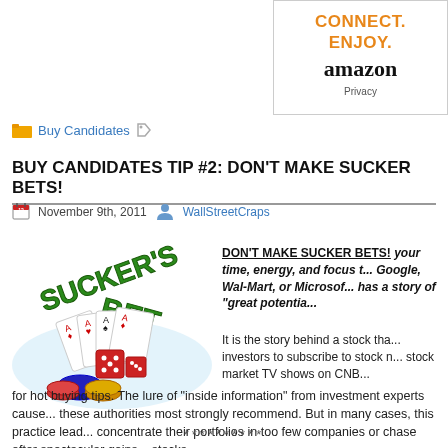[Figure (infographic): Amazon ad banner: CONNECT. ENJOY. amazon Privacy]
Buy Candidates
BUY CANDIDATES TIP #2: DON'T MAKE SUCKER BETS!
November 9th, 2011   WallStreetCraps
[Figure (illustration): Sucker's Bet illustration with playing cards, dice and poker chips]
DON'T MAKE SUCKER BETS! your time, energy, and focus t... Google, Wal-Mart, or Microsof... has a story of "great potentia...
It is the story behind a stock tha... investors to subscribe to stock n... stock market TV shows on CNB... for hot buying tips. The lure of "inside information" from investment experts cause... these authorities most strongly recommend. But in many cases, this practice lead... concentrate their portfolios in too few companies or chase after spectacular gains... stocks.
**********